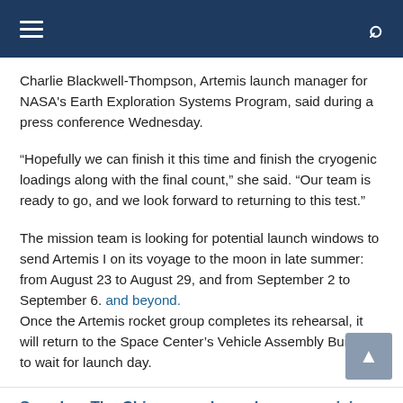Navigation bar with hamburger menu and search icon
Charlie Blackwell-Thompson, Artemis launch manager for NASA's Earth Exploration Systems Program, said during a press conference Wednesday.
“Hopefully we can finish it this time and finish the cryogenic loadings along with the final count,” she said. “Our team is ready to go, and we look forward to returning to this test.”
The mission team is looking for potential launch windows to send Artemis I on its voyage to the moon in late summer: from August 23 to August 29, and from September 2 to September 6. and beyond. Once the Artemis rocket group completes its rehearsal, it will return to the Space Center’s Vehicle Assembly Building to wait for launch day.
See also  The Chinese probe makes a surprising discovery of water at the Mars landing site